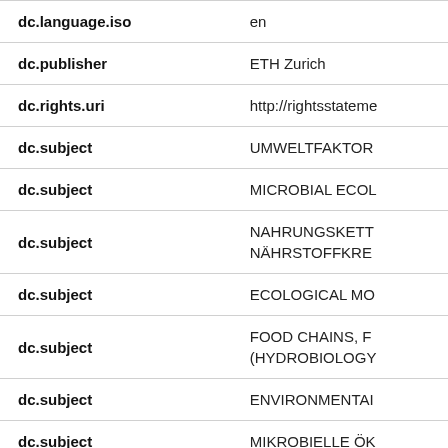| Field | Value |
| --- | --- |
| dc.language.iso | en |
| dc.publisher | ETH Zurich |
| dc.rights.uri | http://rightsstateme |
| dc.subject | UMWELTFAKTOR |
| dc.subject | MICROBIAL ECOL |
| dc.subject | NAHRUNGSKETT
NÄHRSTOFFKRE |
| dc.subject | ECOLOGICAL MO |
| dc.subject | FOOD CHAINS, F
(HYDROBIOLOGY |
| dc.subject | ENVIRONMENTAI |
| dc.subject | MIKROBIELLE ÖK |
| dc.subject | KOLONIEN UND O
MIKROORGANISM |